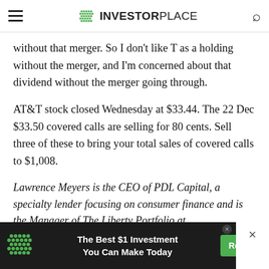INVESTORPLACE
without that merger. So I don't like T as a holding without the merger, and I'm concerned about that dividend without the merger going through.
AT&T stock closed Wednesday at $33.44. The 22 Dec $33.50 covered calls are selling for 80 cents. Sell three of these to bring your total sales of covered calls to $1,008.
Lawrence Meyers is the CEO of PDL Capital, a specialty lender focusing on consumer finance and is the Manager of The Liberty Portfolio at